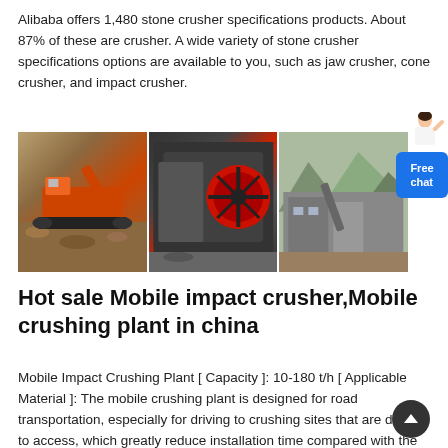Alibaba offers 1,480 stone crusher specifications products. About 87% of these are crusher. A wide variety of stone crusher specifications options are available to you, such as jaw crusher, cone crusher, and impact crusher.
[Figure (photo): Three-panel image strip showing stone crushing machinery: left panel shows an orange mobile crusher on tracks at a quarry site, middle panel shows a large jaw crusher machine with red flywheel, right panel shows a crushing plant facility with mountains in background. A 'Free chat' button overlay is visible on the right side along with a person illustration.]
Hot sale Mobile impact crusher,Mobile crushing plant in china
Mobile Impact Crushing Plant [ Capacity ]: 10-180 t/h [ Applicable Material ]: The mobile crushing plant is designed for road transportation, especially for driving to crushing sites that are difficult to access, which greatly reduce installation time compared with the stationary one.